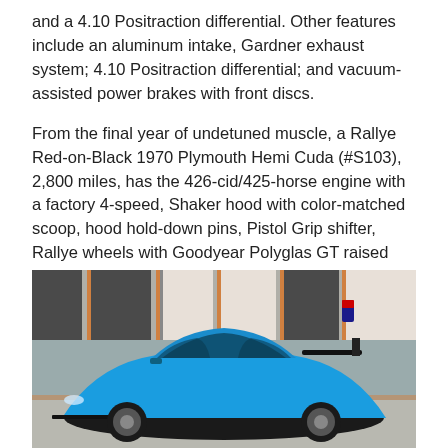and a 4.10 Positraction differential. Other features include an aluminum intake, Gardner exhaust system; 4.10 Positraction differential; and vacuum-assisted power brakes with front discs.
From the final year of undetuned muscle, a Rallye Red-on-Black 1970 Plymouth Hemi Cuda (#S103), 2,800 miles, has the 426-cid/425-horse engine with a factory 4-speed, Shaker hood with color-matched scoop, hood hold-down pins, Pistol Grip shifter, Rallye wheels with Goodyear Polyglas GT raised white-letter tires, black “HEMI” hockey-stripe graphics and a Chrysler Registry report.
Star Cars
[Figure (photo): A bright blue sports car (Porsche 918 Spyder style) photographed in a garage/showroom setting with gray and orange cabinetry in the background.]